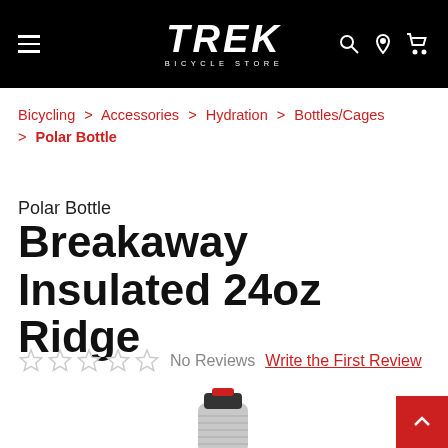TREK BICYCLE STORE
Bicycling > Accessories > Hydration > Bottles/Cages > Polar Bottle
Polar Bottle
Breakaway Insulated 24oz Ridge
No Reviews  Write the First Review
[Figure (photo): Partial view of a Polar Bottle Breakaway Insulated 24oz Ridge water bottle in silver/grey with a black cap and red nozzle top.]